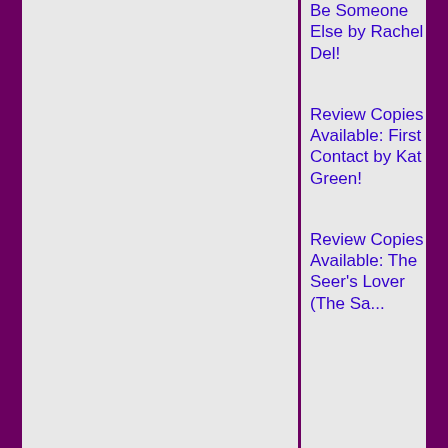Be Someone Else by Rachel Del!
Review Copies Available: First Contact by Kat Green!
Review Copies Available: The Seer's Lover (The Sa...